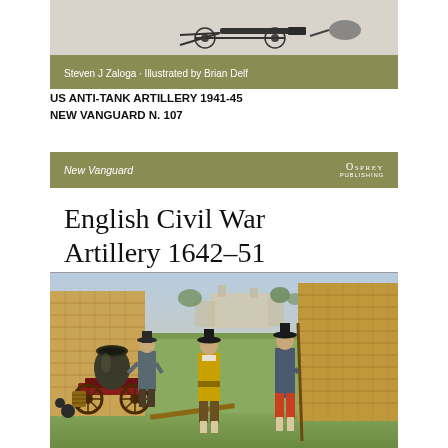[Figure (illustration): Top portion of Osprey New Vanguard book cover showing a WWII anti-tank gun silhouette illustration against white background]
Steven J Zaloga · Illustrated by Brian Delf
US ANTI-TANK ARTILLERY 1941-45
NEW VANGUARD N. 107
[Figure (illustration): Osprey New Vanguard book cover for 'English Civil War Artillery 1642-51' showing soldiers operating a mortar cannon with wicker gabion fortifications in background. One figure wears a yellow coat, another wears red breeches and holds a ramrod.]
New Vanguard
Osprey Publishing
English Civil War Artillery 1642–51